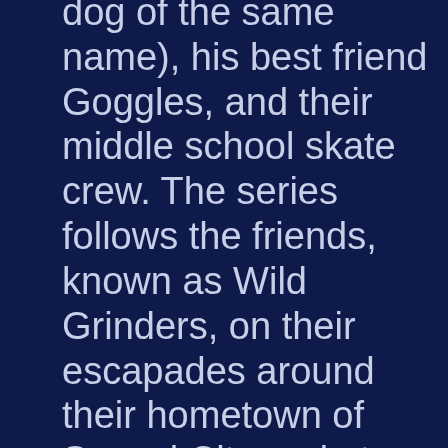dog of the same name), his best friend Goggles, and their middle school skate crew. The series follows the friends, known as Wild Grinders, on their escapades around their hometown of Sprawl City and at their beloved skate spot, The Lot. This smart, witty and talented posse from diverse backgrounds skate in and out of dilemmas, undertake new challenges and experience adventures together. From an undersea skating quest (inspired by Dyrdek's real life dive with sharks) to starring in a zany reality show, each episode of Wild Grinders is infused with fun and friendship.